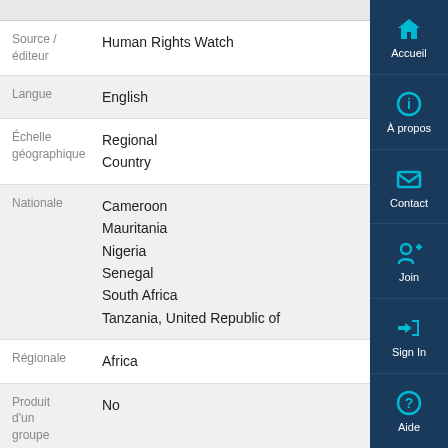| Field | Value |
| --- | --- |
| Source / éditeur | Human Rights Watch |
| Langue | English |
| Échelle géographique | Regional
Country |
| Nationale | Cameroon
Mauritania
Nigeria
Senegal
South Africa
Tanzania, United Republic of |
| Régionale | Africa |
| Produit d'un groupe | No |